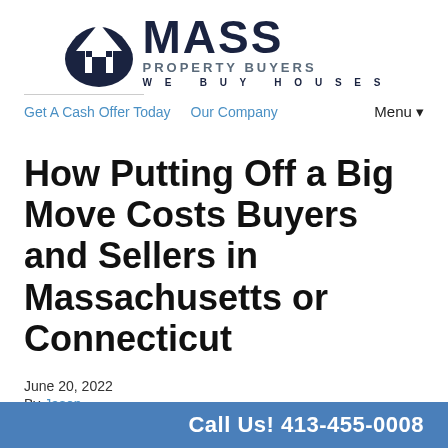[Figure (logo): Mass Property Buyers logo with house icon and text: MASS PROPERTY BUYERS, WE BUY HOUSES]
Get A Cash Offer Today   Our Company   Menu ▾
How Putting Off a Big Move Costs Buyers and Sellers in Massachusetts or Connecticut
June 20, 2022
By Jason
Call Us! 413-455-0008